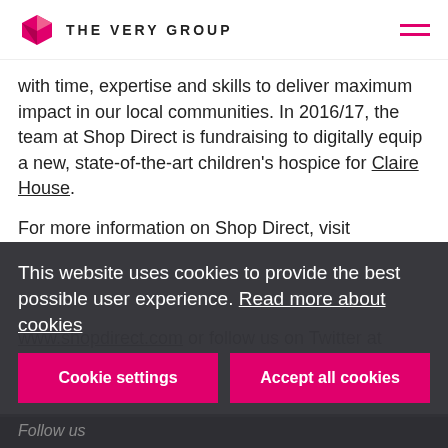THE VERY GROUP
with time, expertise and skills to deliver maximum impact in our local communities. In 2016/17, the team at Shop Direct is fundraising to digitally equip a new, state-of-the-art children's hospice for Claire House.
For more information on Shop Direct, visit www.shopdirect.com or follow us on Twitter at @ShopDirect.
This website uses cookies to provide the best possible user experience. Read more about cookies
Cookie settings
Accept all cookies
Follow us